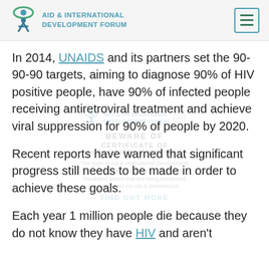AID & INTERNATIONAL DEVELOPMENT FORUM
In 2014, UNAIDS and its partners set the 90-90-90 targets, aiming to diagnose 90% of HIV positive people, have 90% of infected people receiving antiretroviral treatment and achieve viral suppression for 90% of people by 2020.
Recent reports have warned that significant progress still needs to be made in order to achieve these goals.
Each year 1 million people die because they do not know they have HIV and aren't